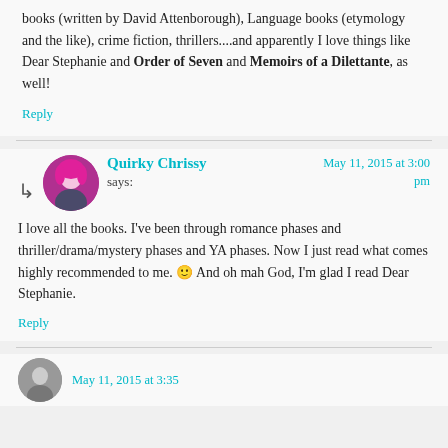books (written by David Attenborough), Language books (etymology and the like), crime fiction, thrillers....and apparently I love things like Dear Stephanie and Order of Seven and Memoirs of a Dilettante, as well!
Reply
Quirky Chrissy says: May 11, 2015 at 3:00 pm
I love all the books. I've been through romance phases and thriller/drama/mystery phases and YA phases. Now I just read what comes highly recommended to me. 🙂 And oh mah God, I'm glad I read Dear Stephanie.
Reply
May 11, 2015 at 3:35